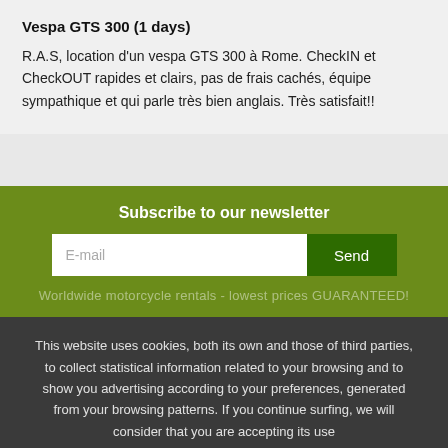Vespa GTS 300 (1 days)
R.A.S, location d'un vespa GTS 300 à Rome. CheckIN et CheckOUT rapides et clairs, pas de frais cachés, équipe sympathique et qui parle très bien anglais. Très satisfait!!
Subscribe to our newsletter
E-mail
Send
Worldwide motorcycle rentals - lowest prices GUARANTEED!
This website uses cookies, both its own and those of third parties, to collect statistical information related to your browsing and to show you advertising according to your preferences, generated from your browsing patterns. If you continue surfing, we will consider that you are accepting its use
Further information
Close